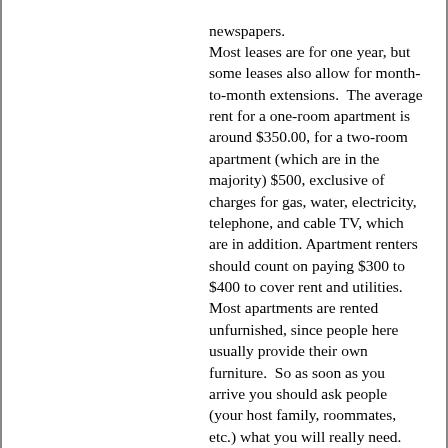newspapers. Most leases are for one year, but some leases also allow for month-to-month extensions.  The average rent for a one-room apartment is around $350.00, for a two-room apartment (which are in the majority) $500, exclusive of charges for gas, water, electricity, telephone, and cable TV, which are in addition. Apartment renters should count on paying $300 to $400 to cover rent and utilities. Most apartments are rented unfurnished, since people here usually provide their own furniture.  So as soon as you arrive you should ask people (your host family, roommates, etc.) what you will really need.  For the most part a bed, desk, chair, and some minor supplies are all you'll need.  American students often bring a lot of equipment with them, so you can buy anything else second-hand. Since you should allocate at least one week to looking for an apartment or a roommate, it's best not to arrive too late.